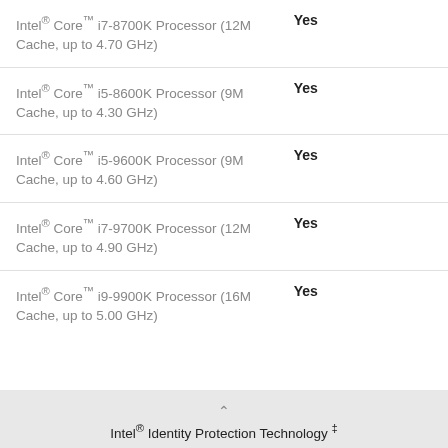| Processor | Supported |
| --- | --- |
| Intel® Core™ i7-8700K Processor (12M Cache, up to 4.70 GHz) | Yes |
| Intel® Core™ i5-8600K Processor (9M Cache, up to 4.30 GHz) | Yes |
| Intel® Core™ i5-9600K Processor (9M Cache, up to 4.60 GHz) | Yes |
| Intel® Core™ i7-9700K Processor (12M Cache, up to 4.90 GHz) | Yes |
| Intel® Core™ i9-9900K Processor (16M Cache, up to 5.00 GHz) | Yes |
Intel® Identity Protection Technology ‡